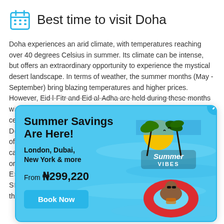Best time to visit Doha
Doha experiences an arid climate, with temperatures reaching over 40 degrees Celsius in summer. Its climate can be intense, but offers an extraordinary opportunity to experience the mystical desert landscape. In terms of weather, the summer months (May - September) bring blazing temperatures and higher prices. However, Eid l-Fitr and Eid al-Adha are held during these months...
[Figure (infographic): Summer Savings Are Here! travel advertisement popup with blue background, showing a baby in a red inflatable ring in a pool, 'Summer VIBES' graphic, destinations London, Dubai, New York & more, price From ₦299,220, Book Now button, and a close X button.]